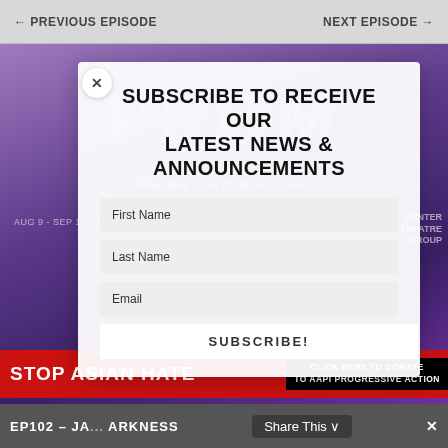← PREVIOUS EPISODE    NEXT EPISODE →
[Figure (screenshot): Purple background with THE PROM broadway musical logo and text: broadway's hit musical comedy LIVE ON STAGE! AUG 9 - SEP 11 | AHMANSONTHEATRE.ORG, CENTER THEATRE GROUP]
SUBSCRIBE TO RECEIVE OUR LATEST NEWS & ANNOUNCEMENTS
First Name
Last Name
Email
SUBSCRIBE!
STOP ASIAN HATE   CLICK HERE TO DONATE TO AAPI PROGRESSIVE ACTION
EP102 – JA... ARKNESS   Share This ∨  ✕